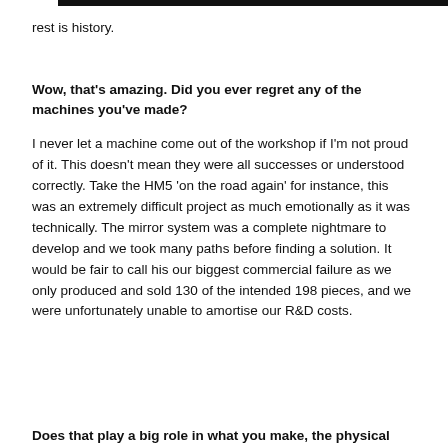rest is history.
Wow, that's amazing. Did you ever regret any of the machines you've made?
I never let a machine come out of the workshop if I'm not proud of it. This doesn't mean they were all successes or understood correctly. Take the HM5 'on the road again' for instance, this was an extremely difficult project as much emotionally as it was technically. The mirror system was a complete nightmare to develop and we took many paths before finding a solution. It would be fair to call his our biggest commercial failure as we only produced and sold 130 of the intended 198 pieces, and we were unfortunately unable to amortise our R&D costs.
Does that play a big role in what you make, the physical